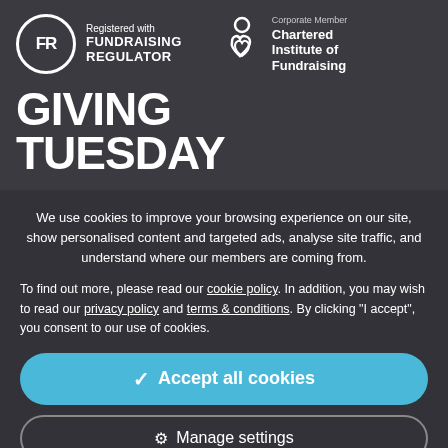[Figure (logo): Registered with Fundraising Regulator logo — circular FR badge and text, plus Chartered Institute of Fundraising Corporate Member logo]
GIVING TUESDAY
We use cookies to improve your browsing experience on our site, show personalised content and targeted ads, analyse site traffic, and understand where our members are coming from.
To find out more, please read our cookie policy. In addition, you may wish to read our privacy policy and terms & conditions. By clicking "I accept", you consent to our use of cookies.
✓ Accept all cookies
⚙ Manage settings